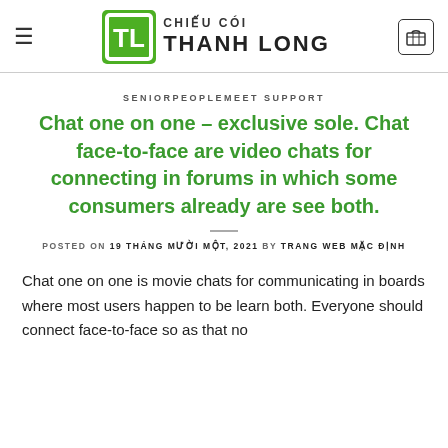CHIẾU CÓI THANH LONG
SENIORPEOPLEMEET SUPPORT
Chat one on one – exclusive sole. Chat face-to-face are video chats for connecting in forums in which some consumers already are see both.
POSTED ON 19 THÁNG MƯỜI MỘT, 2021 BY TRANG WEB MẶC ĐỊNH
Chat one on one is movie chats for communicating in boards where most users happen to be learn both. Everyone should connect face-to-face so as that no